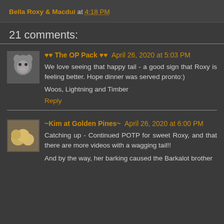Bella Roxy & Macdui at 4:18 PM
21 comments:
♥♥ The OP Pack ♥♥ April 26, 2020 at 5:03 PM
We love seeing that happy tail - a good sign that Roxy is feeling better. Hope dinner was served pronto:)

Woos, Lightning and Timber
Reply
~Kim at Golden Pines~ April 26, 2020 at 6:00 PM
Catching up - Continued POTP for sweet Roxy, and that there are more videos with a wagging tail!!

And by the way, her barking caused the Barkalot brother